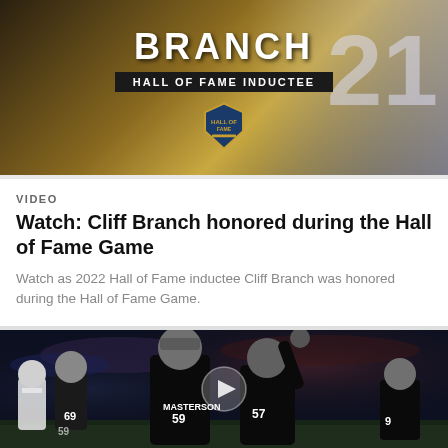[Figure (photo): Hall of Fame inductee graphic for Cliff Branch with gold/dark background, text 'BRANCH', 'HALL OF FAME INDUCTEE', Hall of Fame logo shield, and jersey number visible on right side]
VIDEO
Watch: Cliff Branch honored during the Hall of Fame Game
Watch as 2022 Hall of Fame inductee Cliff Branch was honored during the Hall of Fame Game.
[Figure (photo): Football players in Raiders black uniforms on field at night game; player #59 MASTERSON in foreground, another Raiders player with arm raised wearing #59 helmet, crowded blurred stadium background]